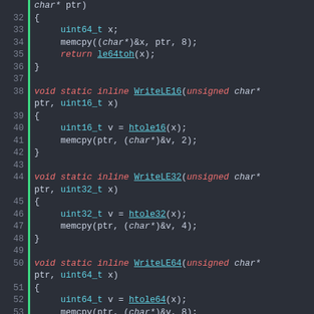[Figure (screenshot): Source code screenshot showing C++ inline functions ReadLE64, WriteLE16, WriteLE32, WriteLE64, and ReadBE16 with syntax highlighting on dark background. Line numbers 32-61 visible.]